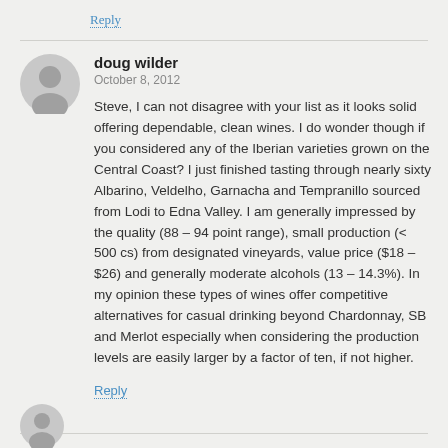Reply
doug wilder
October 8, 2012
Steve, I can not disagree with your list as it looks solid offering dependable, clean wines. I do wonder though if you considered any of the Iberian varieties grown on the Central Coast? I just finished tasting through nearly sixty Albarino, Veldelho, Garnacha and Tempranillo sourced from Lodi to Edna Valley. I am generally impressed by the quality (88 – 94 point range), small production (< 500 cs) from designated vineyards, value price ($18 – $26) and generally moderate alcohols (13 – 14.3%). In my opinion these types of wines offer competitive alternatives for casual drinking beyond Chardonnay, SB and Merlot especially when considering the production levels are easily larger by a factor of ten, if not higher.
Reply